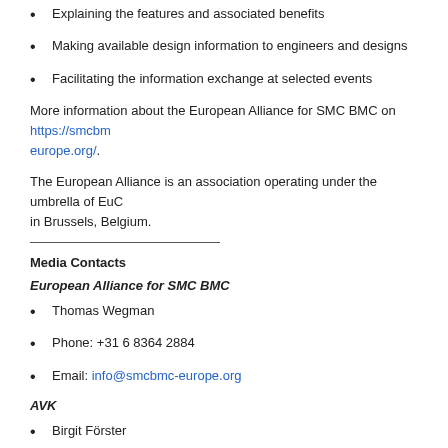Explaining the features and associated benefits
Making available design information to engineers and designs
Facilitating the information exchange at selected events
More information about the European Alliance for SMC BMC on https://smcbmc-europe.org/.
The European Alliance is an association operating under the umbrella of EuC in Brussels, Belgium.
Media Contacts
European Alliance for SMC BMC
Thomas Wegman
Phone: +31 6 8364 2884
Email: info@smcbmc-europe.org
AVK
Birgit Förster